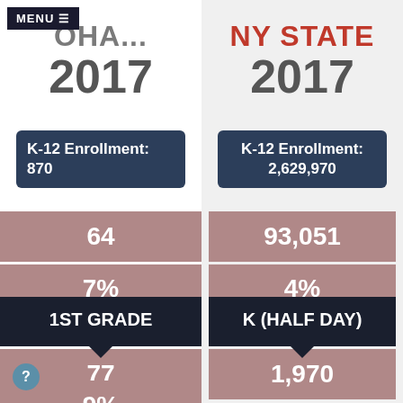[Figure (screenshot): Menu button overlay top-left]
OHA...
2017
K-12 Enrollment: 870
64
7%
1ST GRADE
77
9%
NY STATE
2017
K-12 Enrollment: 2,629,970
93,051
4%
K (HALF DAY)
1,970
?